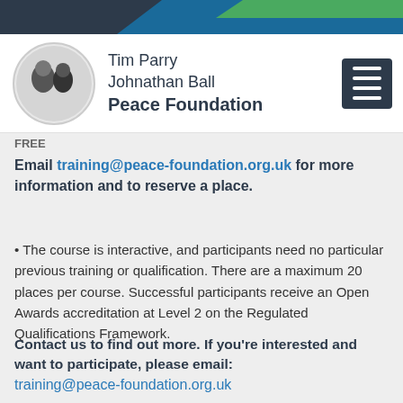[Figure (illustration): Decorative top banner with dark navy, blue, and green diagonal stripe design]
Tim Parry Johnathan Ball Peace Foundation
FREE
Email training@peace-foundation.org.uk for more information and to reserve a place.
The course is interactive, and participants need no particular previous training or qualification. There are a maximum 20 places per course. Successful participants receive an Open Awards accreditation at Level 2 on the Regulated Qualifications Framework.
Contact us to find out more. If you're interested and want to participate, please email: training@peace-foundation.org.uk